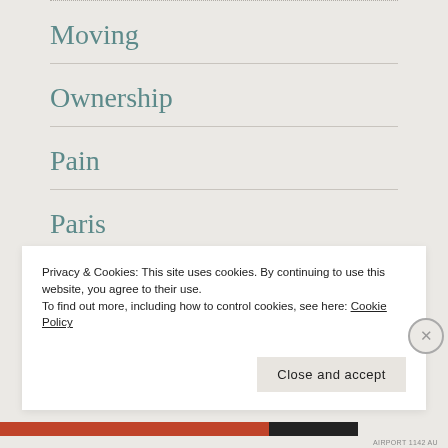Moving
Ownership
Pain
Paris
Spain
Privacy & Cookies: This site uses cookies. By continuing to use this website, you agree to their use.
To find out more, including how to control cookies, see here: Cookie Policy
Close and accept